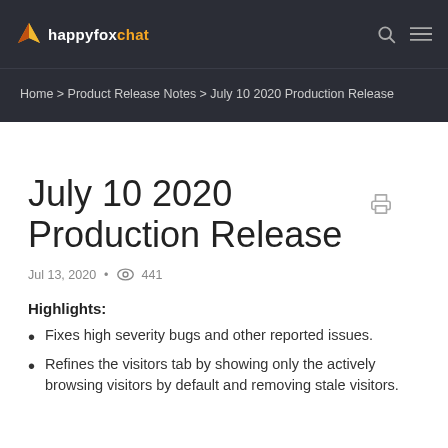happyfoxchat
Home > Product Release Notes > July 10 2020 Production Release
July 10 2020 Production Release
Jul 13, 2020 • 441
Highlights:
Fixes high severity bugs and other reported issues.
Refines the visitors tab by showing only the actively browsing visitors by default and removing stale visitors.